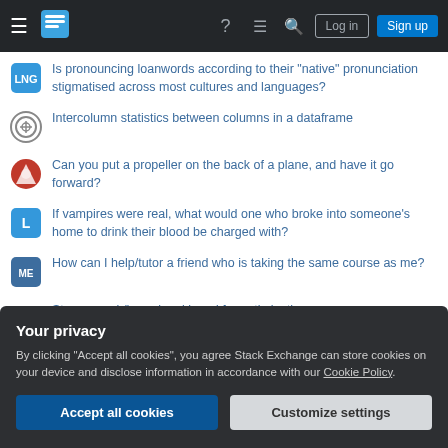Stack Exchange navigation bar with hamburger menu, logo, help, chat, search, log in, sign up
Is pronouncing loanwords according to their "native" pronunciation stigmatised across most cultures and languages?
Intercolumn statistics between columns in a dataframe
Can you put a propeller on the back of a plane, and have it go forward?
If vampires were real, what would one who broke into someone's home to drink their blood be charged with?
How can I help/tutor a friend who is taking the same course as me?
Stream.peek() can be skipped for optimization
Can I hail a taxi from Port of Leixões? Or do I need to book? Next quickest transport to Ribeira?
Your privacy
By clicking "Accept all cookies", you agree Stack Exchange can store cookies on your device and disclose information in accordance with our Cookie Policy.
Accept all cookies   Customize settings
damage?